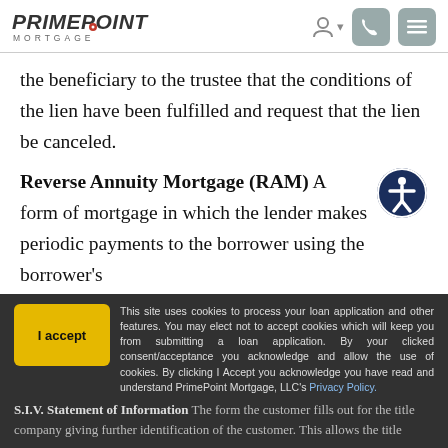PRIMEPOINT MORTGAGE
the beneficiary to the trustee that the conditions of the lien have been fulfilled and request that the lien be canceled.
Reverse Annuity Mortgage (RAM) A form of mortgage in which the lender makes periodic payments to the borrower using the borrower's equity as security...
This site uses cookies to process your loan application and other features. You may elect not to accept cookies which will keep you from submitting a loan application. By your clicked consent/acceptance you acknowledge and allow the use of cookies. By clicking I Accept you acknowledge you have read and understand PrimePoint Mortgage, LLC's Privacy Policy.
S.I.V. Statement of Information The form the customer fills out for the title company giving further identification of the customer. This allows the title